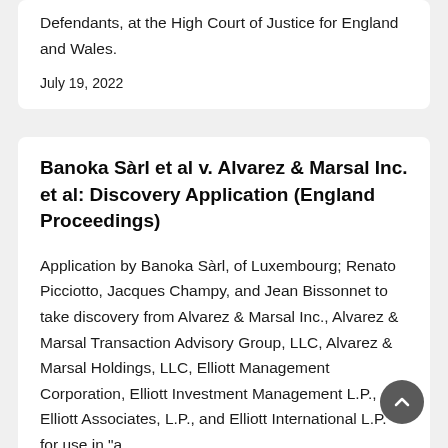Defendants, at the High Court of Justice for England and Wales.
July 19, 2022
Banoka Sàrl et al v. Alvarez & Marsal Inc. et al: Discovery Application (England Proceedings)
Application by Banoka Sàrl, of Luxembourg; Renato Picciotto, Jacques Champy, and Jean Bissonnet to take discovery from Alvarez & Marsal Inc., Alvarez & Marsal Transaction Advisory Group, LLC, Alvarez & Marsal Holdings, LLC, Elliott Management Corporation, Elliott Investment Management L.P., Elliott Associates, L.P., and Elliott International L.P. for use in "a